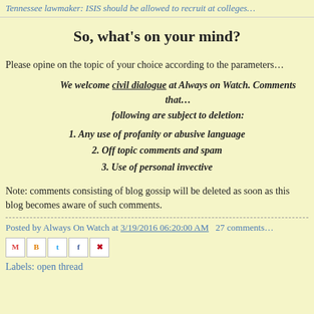Tennessee lawmaker: ISIS should be allowed to recruit at colleges…
So, what's on your mind?
Please opine on the topic of your choice according to the parameters…
We welcome civil dialogue at Always on Watch. Comments that… following are subject to deletion:
1. Any use of profanity or abusive language
2. Off topic comments and spam
3. Use of personal invective
Note: comments consisting of blog gossip will be deleted as soon as this blog becomes aware of such comments.
Posted by Always On Watch at 3/19/2016 06:20:00 AM   27 comments…
[Figure (other): Social media sharing icons: Email, BlogThis, Twitter, Facebook, Pinterest]
Labels: open thread